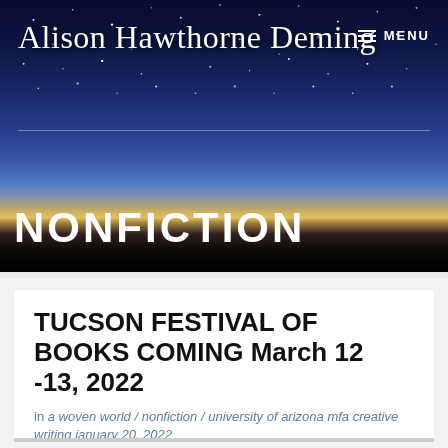[Figure (photo): Night sky hero banner with stars over mountain silhouette and twilight glow, with site title 'Alison Hawthorne Deming', MENU button, and 'NONFICTION' label overlaid]
TUCSON FESTIVAL OF BOOKS COMING March 12 -13, 2022
in a woven world / nonfiction / university of arizona mfa creative writing january 20, 2022